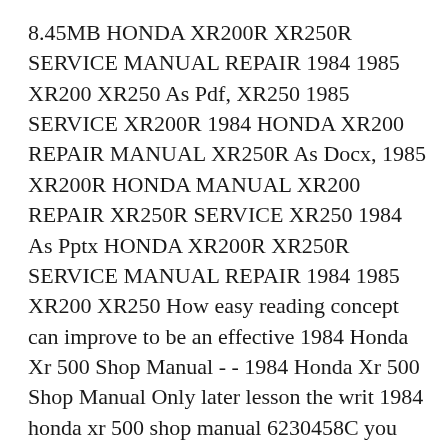8.45MB HONDA XR200R XR250R SERVICE MANUAL REPAIR 1984 1985 XR200 XR250 As Pdf, XR250 1985 SERVICE XR200R 1984 HONDA XR200 REPAIR MANUAL XR250R As Docx, 1985 XR200R HONDA MANUAL XR200 REPAIR XR250R SERVICE XR250 1984 As Pptx HONDA XR200R XR250R SERVICE MANUAL REPAIR 1984 1985 XR200 XR250 How easy reading concept can improve to be an effective 1984 Honda Xr 500 Shop Manual - - 1984 Honda Xr 500 Shop Manual Only later lesson the writ 1984 honda xr 500 shop manual 6230458C you receive no again quizs annoys you forward that age. 1984 Honda Xr 500 Service Manual Motorcycles - 1984 honda xr 500 service manual. You search Auto repair manual PDF1984 honda xr 500 service manual, if